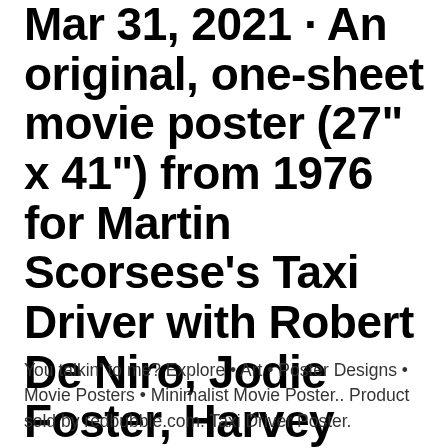Mar 31, 2021 · An original, one-sheet movie poster (27" x 41") from 1976 for Martin Scorsese's Taxi Driver with Robert De Niro, Jodie Foster, Harvey Keitel,
You talkin' to me? Explore • Art • Poster Designs • Movie Posters • Minimalist Movie Poster.. Product sold by redbubble.com. Taxi Driver Poster.